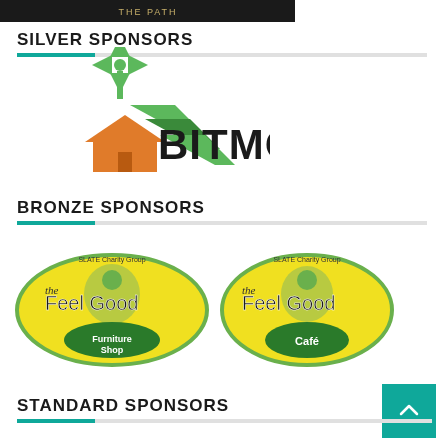[Figure (photo): Top partial image showing text on dark background (cropped)]
SILVER SPONSORS
[Figure (logo): BITMO logo with windmill and house graphic in green and orange, bold black BITMO text]
BRONZE SPONSORS
[Figure (logo): The Feel Good Furniture Shop logo - SLATE Charity Group, yellow/green oval with figure graphic]
[Figure (logo): The Feel Good Café logo - SLATE Charity Group, yellow/green oval with figure graphic]
STANDARD SPONSORS